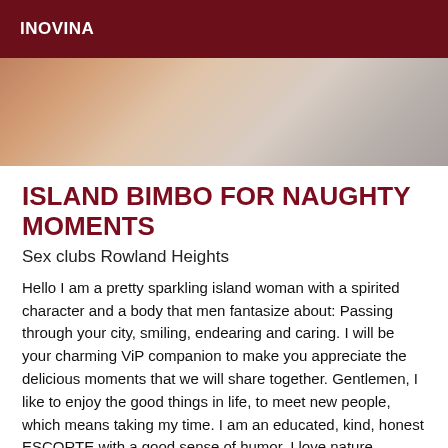INOVINA
[Figure (photo): Partial view of a person, showing skin and light-colored fabric background]
ISLAND BIMBO FOR NAUGHTY MOMENTS
Sex clubs Rowland Heights
Hello I am a pretty sparkling island woman with a spirited character and a body that men fantasize about: Passing through your city, smiling, endearing and caring. I will be your charming ViP companion to make you appreciate the delicious moments that we will share together. Gentlemen, I like to enjoy the good things in life, to meet new people, which means taking my time. I am an educated, kind, honest ESCORTE with a good sense of humor. I love nature, traveling, sharing the experiences that life has in store for us. I particularly appreciate tenderness and sensuality: I like to feel